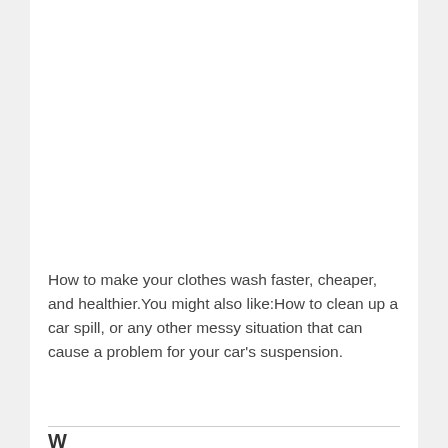How to make your clothes wash faster, cheaper, and healthier.You might also like:How to clean up a car spill, or any other messy situation that can cause a problem for your car's suspension.